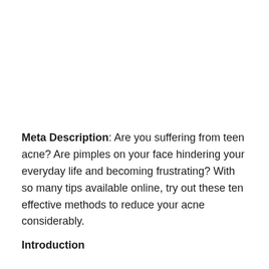Meta Description: Are you suffering from teen acne? Are pimples on your face hindering your everyday life and becoming frustrating? With so many tips available online, try out these ten effective methods to reduce your acne considerably.
Introduction